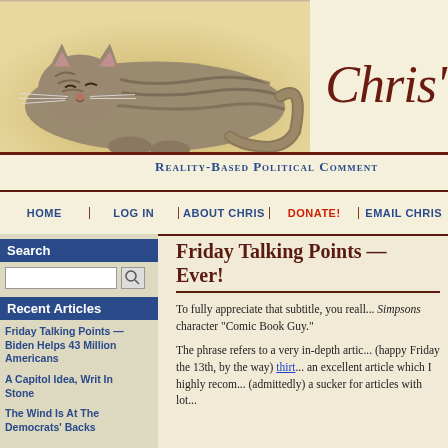[Figure (illustration): Tabby cat curled up sleeping, used as website header image]
Chris'
Reality-Based Political Comment
HOME | LOG IN | ABOUT CHRIS | DONATE! | EMAIL CHRIS
Search
Recent Articles
Friday Talking Points — Biden Helps 43 Million Americans
A Capitol Idea, Writ In Stone
The Wind Is At The Democrats' Backs
Friday Talking Points — Ever!
To fully appreciate that subtitle, you really need to hear it in the voice of the Simpsons character "Comic Book Guy."
The phrase refers to a very in-depth article (happy Friday the 13th, by the way) thirt... an excellent article which I highly recom... (admittedly) a sucker for articles with lot...